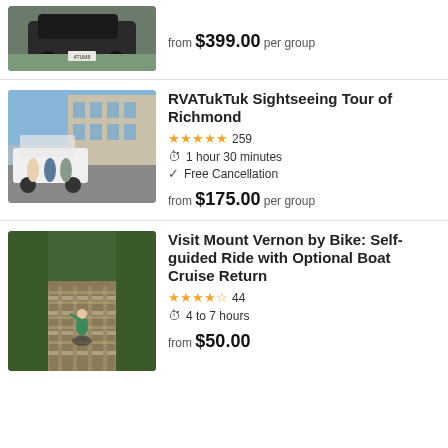[Figure (photo): Partial view of a black car on grass, top portion cut off]
from $399.00 per group
[Figure (photo): Three people standing in front of a white TukTuk vehicle with a building in the background]
RVATukTuk Sightseeing Tour of Richmond
★★★★★ 259
1 hour 30 minutes
Free Cancellation
from $175.00 per group
[Figure (photo): A person riding a bike on a wooden bridge path surrounded by trees]
Visit Mount Vernon by Bike: Self-guided Ride with Optional Boat Cruise Return
★★★★½ 44
4 to 7 hours
from $50.00